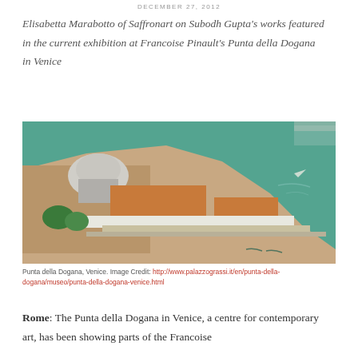DECEMBER 27, 2012
Elisabetta Marabotto of Saffronart on Subodh Gupta's works featured in the current exhibition at Francoise Pinault's Punta della Dogana in Venice
[Figure (photo): Aerial photograph of Punta della Dogana, Venice, showing the historic building at the tip of the Dorsoduro sestiere surrounded by the Grand Canal and Giudecca Canal waters]
Punta della Dogana, Venice. Image Credit: http://www.palazzograssi.it/en/punta-della-dogana/museo/punta-della-dogana-venice.html
Rome: The Punta della Dogana in Venice, a centre for contemporary art, has been showing parts of the Francoise